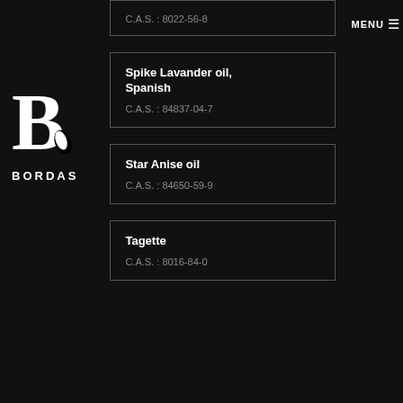[Figure (logo): Bordas company logo with large B letter and leaf, with BORDAS text below]
MENU ☰
C.A.S. : 8022-56-8
Spike Lavander oil, Spanish
C.A.S. : 84837-04-7
Star Anise oil
C.A.S. : 84650-59-9
Tagette
C.A.S. : 8016-84-0